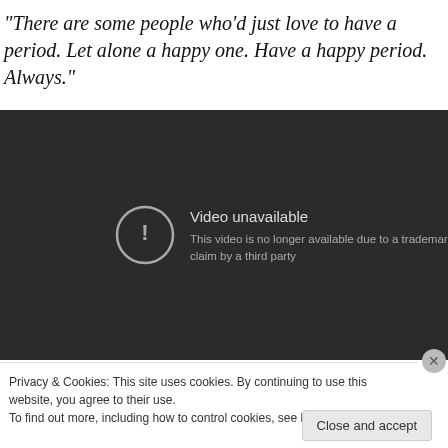“There are some people who’d just love to have a period. Let alone a happy one. Have a happy period. Always.”
[Figure (screenshot): Embedded video player showing 'Video unavailable - This video is no longer available due to a trademark claim by a third party' error message on a dark background.]
Privacy & Cookies: This site uses cookies. By continuing to use this website, you agree to their use.
To find out more, including how to control cookies, see here: Cookie Policy
Close and accept